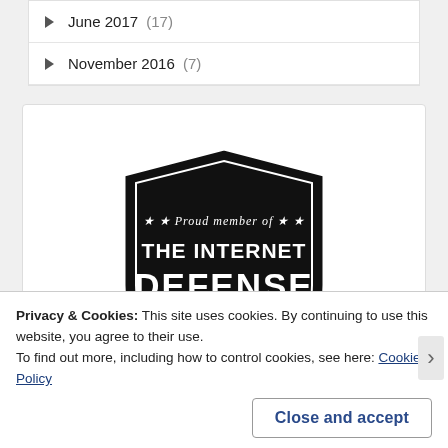June 2017 (17)
November 2016 (7)
[Figure (logo): Internet Defense League badge - black shield shape with text 'Proud member of THE INTERNET DEFENSE LEAGUE' with stars]
Privacy & Cookies: This site uses cookies. By continuing to use this website, you agree to their use.
To find out more, including how to control cookies, see here: Cookie Policy
Close and accept